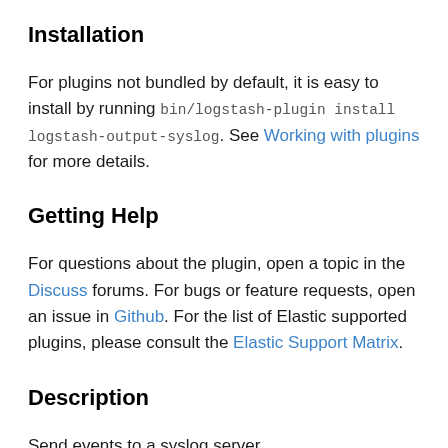Installation
For plugins not bundled by default, it is easy to install by running bin/logstash-plugin install logstash-output-syslog. See Working with plugins for more details.
Getting Help
For questions about the plugin, open a topic in the Discuss forums. For bugs or feature requests, open an issue in Github. For the list of Elastic supported plugins, please consult the Elastic Support Matrix.
Description
Send events to a syslog server.
You can send messages compliant with RFC3164 or